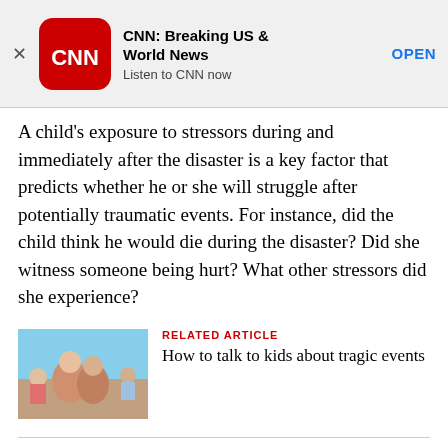[Figure (screenshot): CNN app advertisement banner with CNN logo, title 'CNN: Breaking US & World News', subtitle 'Listen to CNN now', and an OPEN button]
A child's exposure to stressors during and immediately after the disaster is a key factor that predicts whether he or she will struggle after potentially traumatic events. For instance, did the child think he would die during the disaster? Did she witness someone being hurt? What other stressors did she experience?
[Figure (photo): Photo of children hugging, appearing distressed]
RELATED ARTICLE
How to talk to kids about tragic events
School-aged children are often able to describe these stressors clearly, despite the fact that their language skills are less well developed. For